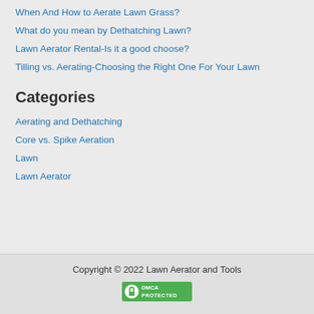When And How to Aerate Lawn Grass?
What do you mean by Dethatching Lawn?
Lawn Aerator Rental-Is it a good choose?
Tilling vs. Aerating-Choosing the Right One For Your Lawn
Categories
Aerating and Dethatching
Core vs. Spike Aeration
Lawn
Lawn Aerator
Copyright © 2022 Lawn Aerator and Tools
[Figure (logo): DMCA Protected badge - green rectangle with DMCA text and shield icon]